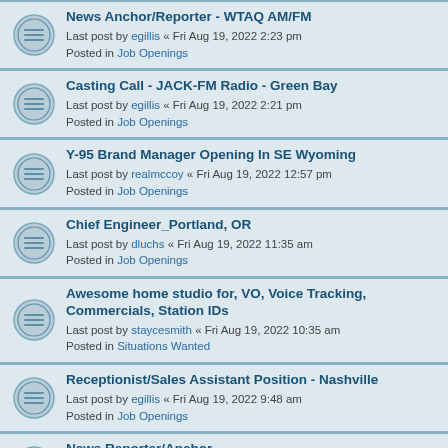News Anchor/Reporter - WTAQ AM/FM
Last post by egillis « Fri Aug 19, 2022 2:23 pm
Posted in Job Openings
Casting Call - JACK-FM Radio - Green Bay
Last post by egillis « Fri Aug 19, 2022 2:21 pm
Posted in Job Openings
Y-95 Brand Manager Opening In SE Wyoming
Last post by realmccoy « Fri Aug 19, 2022 12:57 pm
Posted in Job Openings
Chief Engineer_Portland, OR
Last post by dluchs « Fri Aug 19, 2022 11:35 am
Posted in Job Openings
Awesome home studio for, VO, Voice Tracking, Commercials, Station IDs
Last post by staycesmith « Fri Aug 19, 2022 10:35 am
Posted in Situations Wanted
Receptionist/Sales Assistant Position - Nashville
Last post by egillis « Fri Aug 19, 2022 9:48 am
Posted in Job Openings
News Reporter/Anchor
Last post by frankwilt « Fri Aug 19, 2022 9:37 am
Posted in Job Openings
On-Air in Beautiful Northern Michigan
Last post by PromoKing1 « Fri Aug 19, 2022 7:53 am
Posted in Job Openings